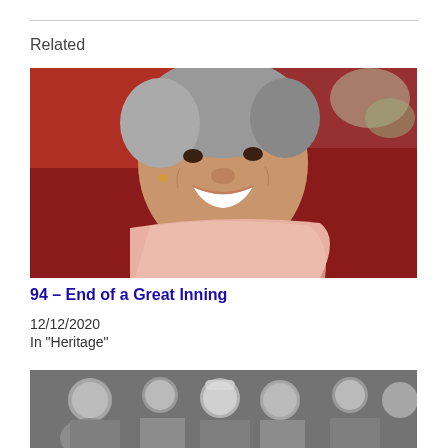Related
[Figure (photo): Elderly woman with grey hair smiling broadly, wearing a light pink scarf, seated in front of a red chair background]
94 – End of a Great Inning
12/12/2020
In "Heritage"
[Figure (photo): Black and white photograph of a group of people including someone wearing a white cap]